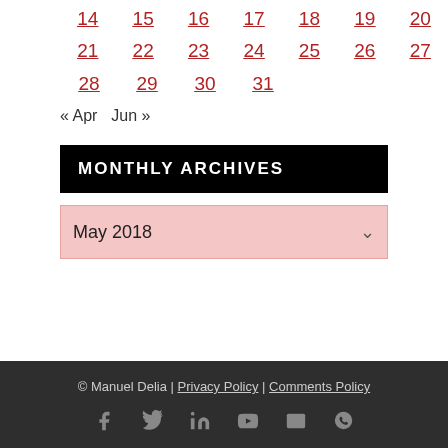14 15 16 17 18 19 20
21 22 23 24 25 26 27
28 29 30 31
« Apr  Jun »
MONTHLY ARCHIVES
May 2018
© Manuel Delia | Privacy Policy | Comments Policy